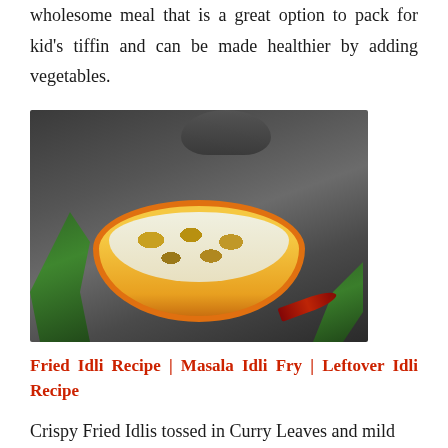wholesome meal that is a great option to pack for kid's tiffin and can be made healthier by adding vegetables.
[Figure (photo): A photo of fried idli pieces in a white oval dish with an orange rim, garnished with curry leaves and spices, placed on a dark slate surface with fresh curry leaves and dried red chilies around it.]
Fried Idli Recipe | Masala Idli Fry | Leftover Idli Recipe
Crispy Fried Idlis tossed in Curry Leaves and mild